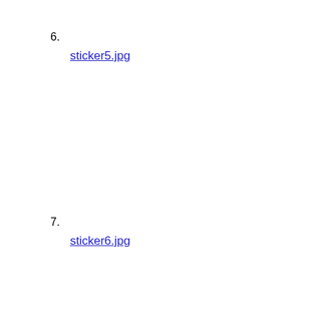6. sticker5.jpg
7. sticker6.jpg